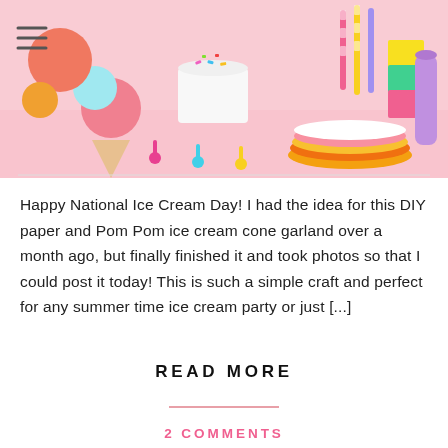[Figure (photo): Colorful party table scene with ice cream cone decorations, a white cake with sprinkles, colorful plates, spoons, and cups on a pink background]
Happy National Ice Cream Day! I had the idea for this DIY paper and Pom Pom ice cream cone garland over a month ago, but finally finished it and took photos so that I could post it today! This is such a simple craft and perfect for any summer time ice cream party or just [...]
READ MORE
2 COMMENTS